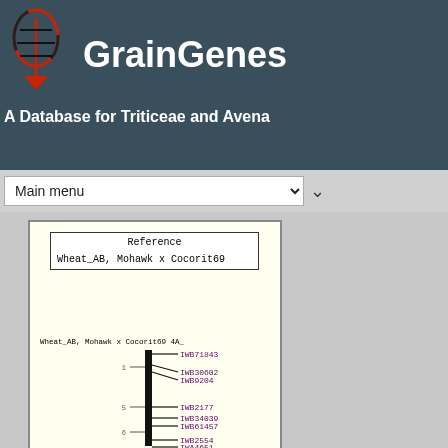[Figure (logo): GrainGenes DNA helix logo in red and black]
GrainGenes
A Database for Triticeae and Avena
Main menu
[Figure (other): Genetic linkage map showing chromosome Wheat_AB, Mohawk x Cocorit69 4A_ with markers: IWB71843, IWB30602, IWB9204, IWB2177, IWB34039, IWB61457, IWB2554, IWA4651. Reference box shows Wheat_AB, Mohawk x Cocorit69. Scale marks at approximately 1, 5, 6 cM.]